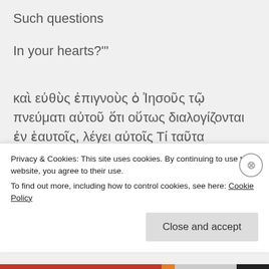Such questions
In your hearts?'"
καὶ εὐθὺς ἐπιγνοὺς ὁ Ἰησοῦς τῷ πνεύματι αὐτοῦ ὅτι οὕτως διαλογίζονται ἐν ἑαυτοῖς, λέγει αὐτοῖς Τί ταῦτα διαλογίζεσθε ἐν ταῖς καρδίαις
Privacy & Cookies: This site uses cookies. By continuing to use this website, you agree to their use.
To find out more, including how to control cookies, see here: Cookie Policy
Close and accept